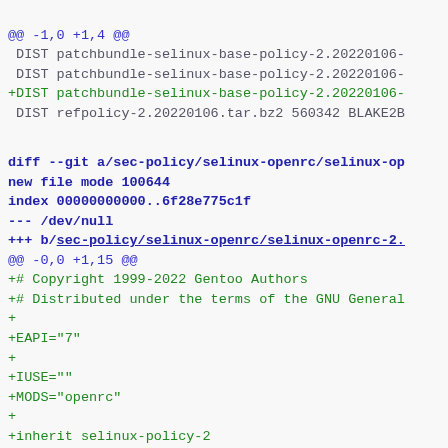@@ -1,0 +1,4 @@
 DIST patchbundle-selinux-base-policy-2.20220106-
 DIST patchbundle-selinux-base-policy-2.20220106-
+DIST patchbundle-selinux-base-policy-2.20220106-
 DIST refpolicy-2.20220106.tar.bz2 560342 BLAKE2B
diff --git a/sec-policy/selinux-openrc/selinux-op
new file mode 100644
index 00000000000..6f28e775c1f
--- /dev/null
+++ b/sec-policy/selinux-openrc/selinux-openrc-2.
@@ -0,0 +1,15 @@
+# Copyright 1999-2022 Gentoo Authors
+# Distributed under the terms of the GNU General
+
+EAPI="7"
+
+IUSE=""
+MODS="openrc"
+
+inherit selinux-policy-2
+
+DESCRIPTION="SElinux policy for openrc"